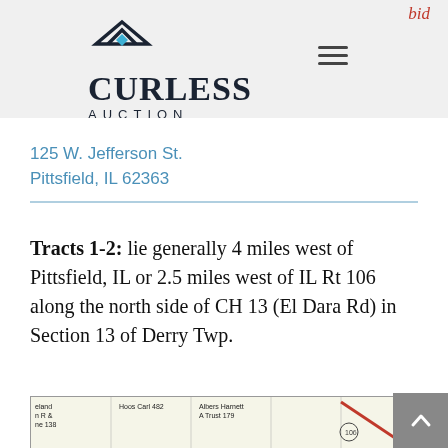bid
[Figure (logo): Curless Auction logo with diamond house icon, bold CURLESS text and AUCTION subtitle]
125 W. Jefferson St. Pittsfield, IL 62363
Tracts 1-2: lie generally 4 miles west of Pittsfield, IL or 2.5 miles west of IL Rt 106 along the north side of CH 13 (El Dara Rd) in Section 13 of Derry Twp.
[Figure (map): Parcel map showing land tracts near Pittsfield IL, with labeled landowners including Hoos Carl 482, Albers Harnett A Trust 179, Kenady Jon L 217, Lloyd Earl W & Harold Sherman 100, Yockley Lynde & Joseph D 83, Carl & Etal 80, Hoos Carl & George Etal 42, Zubinger Roy F Farm LC 43, highlighted yellow parcel with label 1, road markings and route 106 indicator]